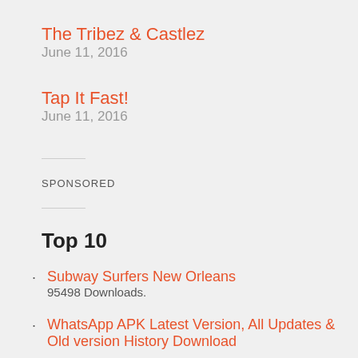The Tribez & Castlez
June 11, 2016
Tap It Fast!
June 11, 2016
SPONSORED
Top 10
Subway Surfers New Orleans
95498 Downloads.
WhatsApp APK Latest Version, All Updates & Old version History Download
81329 Downloads.
Subway Surfers Sydney
65991 Downloads.